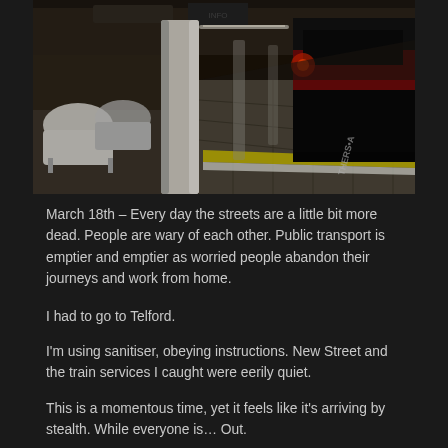[Figure (photo): A dark, near-empty train station platform at night. A white column stands in the foreground with modern white seating visible to the left. A train with red and dark livery is visible on the right side of the platform. A yellow safety line runs along the platform edge. The scene is eerily quiet and dimly lit.]
March 18th – Every day the streets are a little bit more dead. People are wary of each other. Public transport is emptier and emptier as worried people abandon their journeys and work from home.
I had to go to Telford.
I'm using sanitiser, obeying instructions. New Street and the train services I caught were eerily quiet.
This is a momentous time, yet it feels like it's arriving by stealth. While everyone is… Out.